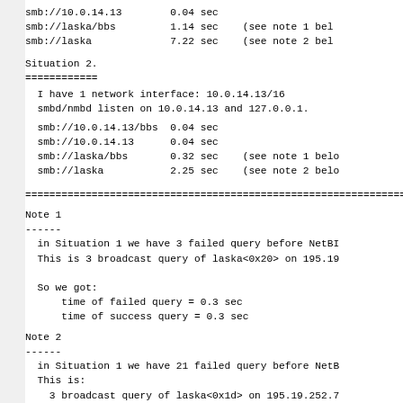smb://10.0.14.13        0.04 sec
smb://laska/bbs         1.14 sec    (see note 1 bel
smb://laska             7.22 sec    (see note 2 bel
Situation 2.
============
I have 1 network interface: 10.0.14.13/16
  smbd/nmbd listen on 10.0.14.13 and 127.0.0.1.
smb://10.0.14.13/bbs  0.04 sec
  smb://10.0.14.13      0.04 sec
  smb://laska/bbs       0.32 sec    (see note 1 belo
  smb://laska           2.25 sec    (see note 2 belo
================================================================
Note 1
------
in Situation 1 we have 3 failed query before NetBI
  This is 3 broadcast query of laska<0x20> on 195.19

  So we got:
      time of failed query = 0.3 sec
      time of success query = 0.3 sec
Note 2
------
in Situation 1 we have 21 failed query before NetB
  This is:
    3 broadcast query of laska<0x1d> on 195.19.252.7